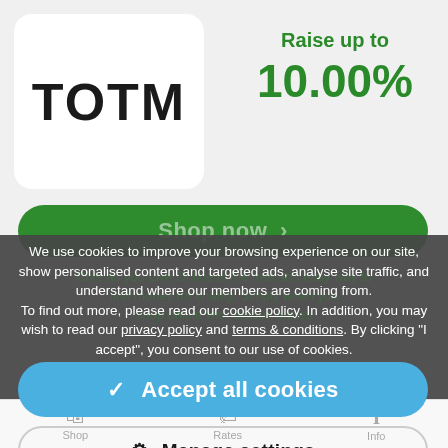[Figure (logo): TOTM logo in white rounded rectangle box]
Raise up to 10.00%
Shop now >
We use cookies to improve your browsing experience on our site, show personalised content and targeted ads, analyse site traffic, and understand where our members are coming from. To find out more, please read our cookie policy. In addition, you may wish to read our privacy policy and terms & conditions. By clicking "I accept", you consent to our use of cookies.
✓ Accept all cookies
⚙ Manage settings